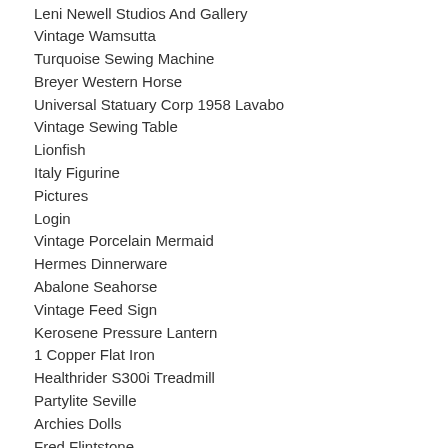Leni Newell Studios And Gallery
Vintage Wamsutta
Turquoise Sewing Machine
Breyer Western Horse
Universal Statuary Corp 1958 Lavabo
Vintage Sewing Table
Lionfish
Italy Figurine
Pictures
Login
Vintage Porcelain Mermaid
Hermes Dinnerware
Abalone Seahorse
Vintage Feed Sign
Kerosene Pressure Lantern
1 Copper Flat Iron
Healthrider S300i Treadmill
Partylite Seville
Archies Dolls
Fred Flintstone
Antique Table Lamps
Schwinn Orange Krate
8rdquo Drafting